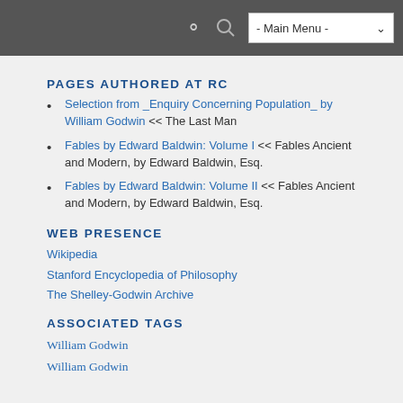- Main Menu -
PAGES AUTHORED AT RC
Selection from _Enquiry Concerning Population_ by William Godwin << The Last Man
Fables by Edward Baldwin: Volume I << Fables Ancient and Modern, by Edward Baldwin, Esq.
Fables by Edward Baldwin: Volume II << Fables Ancient and Modern, by Edward Baldwin, Esq.
WEB PRESENCE
Wikipedia
Stanford Encyclopedia of Philosophy
The Shelley-Godwin Archive
ASSOCIATED TAGS
William Godwin
William Godwin
PEOPLE TAGS